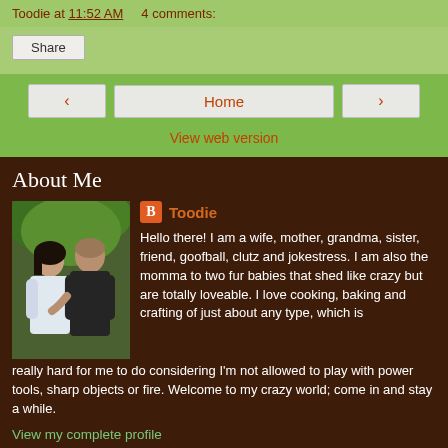Toodie at 11:52 AM    4 comments:
Share
‹   Home   ›
View web version
About Me
Toodie
Hello there! I am a wife, mother, grandma, sister, friend, goofball, clutz and jokestress. I am also the momma to two fur babies that shed like crazy but are totally loveable. I love cooking, baking and crafting of just about any type, which is really hard for me to do considering I'm not allowed to play with power tools, sharp objects or fire. Welcome to my crazy world; come in and stay a while.
View my complete profile
Powered by Blogger.